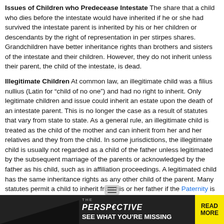Issues of Children who Predecease Intestate The share that a child who dies before the intestate would have inherited if he or she had survived the intestate parent is inherited by his or her children or descendants by the right of representation in per stirpes shares. Grandchildren have better inheritance rights than brothers and sisters of the intestate and their children. However, they do not inherit unless their parent, the child of the intestate, is dead.
Illegitimate Children At common law, an illegitimate child was a filius nullius (Latin for "child of no one") and had no right to inherit. Only legitimate children and issue could inherit an estate upon the death of an intestate parent. This is no longer the case as a result of statutes that vary from state to state. As a general rule, an illegitimate child is treated as the child of the mother and can inherit from her and her relatives and they from the child. In some jurisdictions, the illegitimate child is usually not regarded as a child of the father unless legitimated by the subsequent marriage of the parents or acknowledged by the father as his child, such as in affiliation proceedings. A legitimated child has the same inheritance rights as any other child of the parent. Many statutes permit a child to inherit from his or her father if the Paternity is judicially established before the father's death. In the case of Trimble v. Gordon, 43[...] 6, 762, 97 S. Ct. 1459, 52 L. Ed.
[Figure (infographic): Advertisement banner: THE PERSPECTIVE - SEE WHAT YOU'RE MISSING - READ MORE]